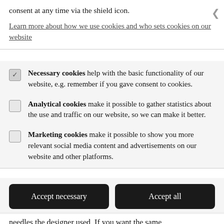consent at any time via the shield icon.
Learn more about how we use cookies and who sets cookies on our website
Necessary cookies help with the basic functionality of our website, e.g. remember if you gave consent to cookies.
Analytical cookies make it possible to gather statistics about the use and traffic on our website, so we can make it better.
Marketing cookies make it possible to show you more relevant social media content and advertisements on our website and other platforms.
Accept necessary
Accept all
Privacy by openli
needles the designer used. If you want the same